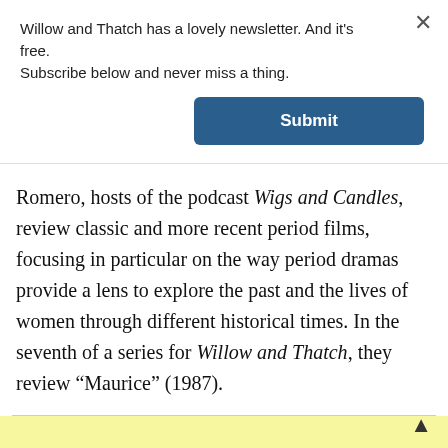Willow and Thatch has a lovely newsletter. And it's free. Subscribe below and never miss a thing.
[Figure (other): Submit button with dark blue background and white bold text reading 'Submit']
Romero, hosts of the podcast Wigs and Candles, review classic and more recent period films, focusing in particular on the way period dramas provide a lens to explore the past and the lives of women through different historical times. In the seventh of a series for Willow and Thatch, they review “Maurice” (1987).
[Figure (other): Yellow highlighted bar at the bottom of the page]